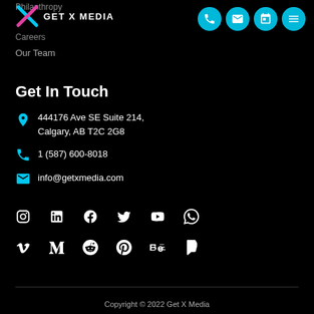Philanthropy
[Figure (logo): Get X Media logo with X icon and text GET X MEDIA]
Careers
Our Team
Get In Touch
444176 Ave SE Suite 214, Calgary, AB T2C 2G8
1 (587) 600-8018
info@getxmedia.com
[Figure (infographic): Row of social media icons: Instagram, LinkedIn, Facebook, Twitter, YouTube, WhatsApp]
[Figure (infographic): Row of social media icons: Vimeo, Medium, Reddit, Pinterest, Behance, Foursquare]
Copyright © 2022 Get X Media